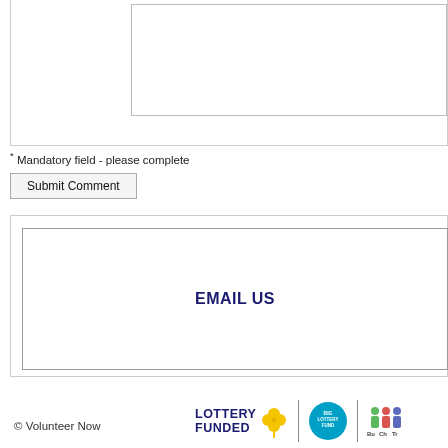* Mandatory field - please complete
Submit Comment
EMAIL US
© Volunteer Now
[Figure (logo): Lottery Funded logo with shamrock/clover icon, Big Lottery Fund circle logo, and partially visible Bu Ch Tr logo]
© Volunteer Now  LOTTERY FUNDED [logos]